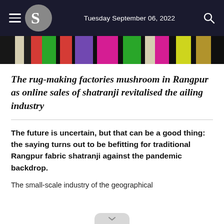Tuesday September 06, 2022
[Figure (photo): Colorful striped shatranji fabric rug showing multiple vibrant colors including pink, green, black, purple, and yellow.]
The rug-making factories mushroom in Rangpur as online sales of shatranji revitalised the ailing industry
The future is uncertain, but that can be a good thing: the saying turns out to be befitting for traditional Rangpur fabric shatranji against the pandemic backdrop.
The small-scale industry of the geographical